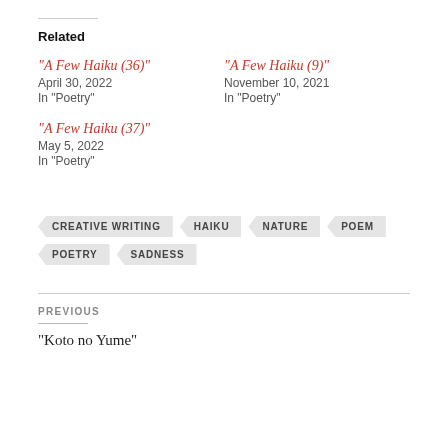Related
“A Few Haiku (36)”
April 30, 2022
In “Poetry”
“A Few Haiku (9)”
November 10, 2021
In “Poetry”
“A Few Haiku (37)”
May 5, 2022
In “Poetry”
CREATIVE WRITING
HAIKU
NATURE
POEM
POETRY
SADNESS
PREVIOUS
“Koto no Yume”